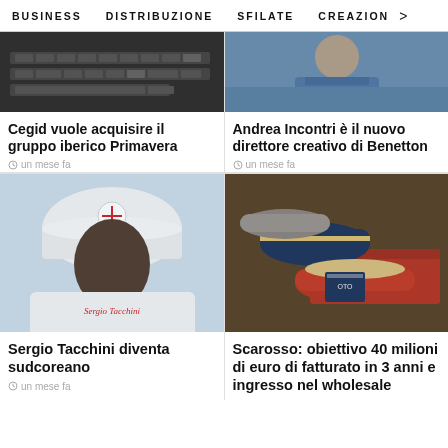BUSINESS   DISTRIBUZIONE   SFILATE   CREAZION >
[Figure (photo): Close-up of a keyboard/dark surface, top-left article image]
Cegid vuole acquisire il gruppo iberico Primavera
un mese fa
[Figure (photo): Person in denim jacket, top-right article image]
Andrea Incontri è il nuovo direttore creativo di Benetton
un mese fa
[Figure (photo): Person wearing Sergio Tacchini hat and shirt]
Sergio Tacchini diventa sudcoreano
un mese fa
[Figure (photo): Scarosso shoes displayed in red and navy colors]
Scarosso: obiettivo 40 milioni di euro di fatturato in 3 anni e ingresso nel wholesale